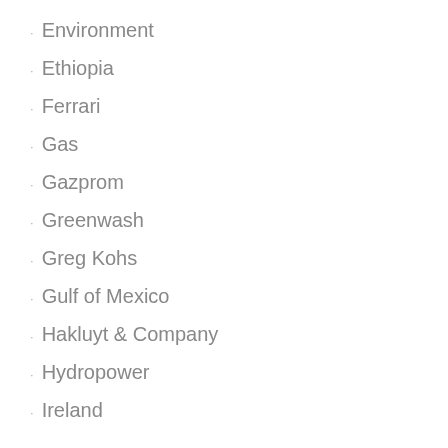Environment
Ethiopia
Ferrari
Gas
Gazprom
Greenwash
Greg Kohs
Gulf of Mexico
Hakluyt & Company
Hydropower
Ireland